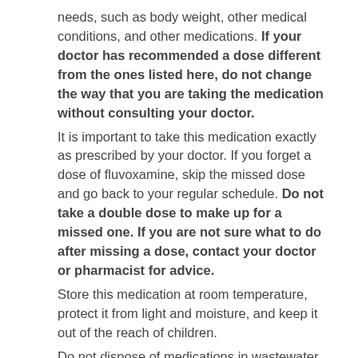needs, such as body weight, other medical conditions, and other medications. If your doctor has recommended a dose different from the ones listed here, do not change the way that you are taking the medication without consulting your doctor.
It is important to take this medication exactly as prescribed by your doctor. If you forget a dose of fluvoxamine, skip the missed dose and go back to your regular schedule. Do not take a double dose to make up for a missed one. If you are not sure what to do after missing a dose, contact your doctor or pharmacist for advice.
Store this medication at room temperature, protect it from light and moisture, and keep it out of the reach of children.
Do not dispose of medications in wastewater (e.g. down the sink or in the toilet) or in household garbage. Ask your pharmacist how to dispose of medications that are no longer needed or have expired.